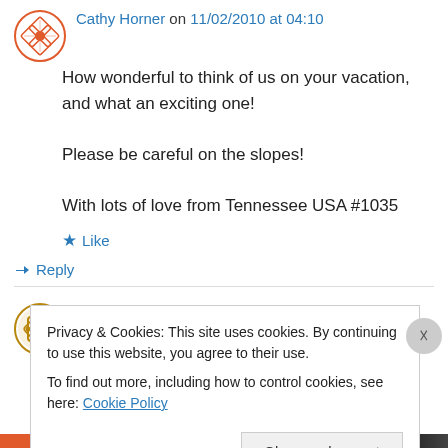Cathy Horner on 11/02/2010 at 04:10
How wonderful to think of us on your vacation, and what an exciting one!
Please be careful on the slopes!
With lots of love from Tennessee USA #1035
Like
Reply
Connie on 11/02/2010 at 08:28
Privacy & Cookies: This site uses cookies. By continuing to use this website, you agree to their use.
To find out more, including how to control cookies, see here: Cookie Policy
Close and accept